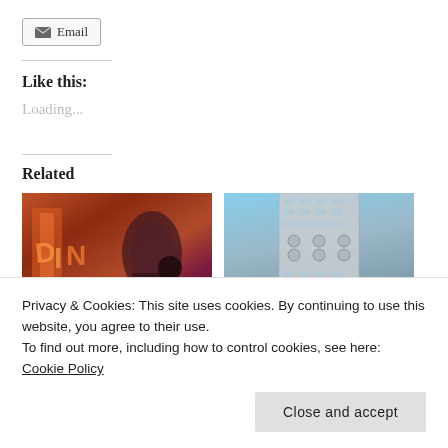Email
Like this:
Loading...
Related
[Figure (photo): Woman looking at phone with neon diner sign in background]
[Figure (photo): Looking up at tall modern glass skyscraper against blue sky]
Privacy & Cookies: This site uses cookies. By continuing to use this website, you agree to their use.
To find out more, including how to control cookies, see here: Cookie Policy
Close and accept